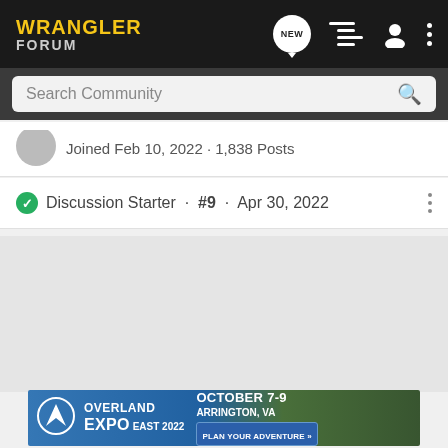WRANGLER FORUM
Search Community
Joined Feb 10, 2022 · 1,838 Posts
Discussion Starter · #9 · Apr 30, 2022
[Figure (screenshot): Gray empty content area placeholder]
[Figure (photo): Overland Expo East 2022 advertisement banner: October 7-9, Arrington, VA, Plan Your Adventure]